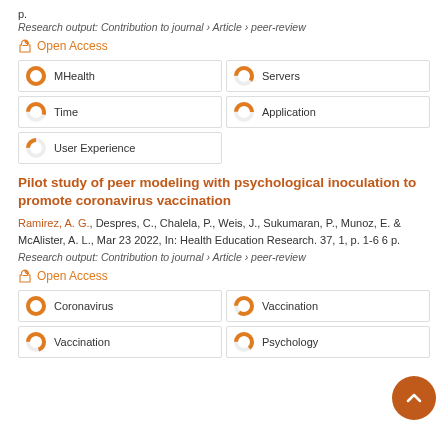p.
Research output: Contribution to journal › Article › peer-review
Open Access
MHealth
Servers
Time
Application
User Experience
Pilot study of peer modeling with psychological inoculation to promote coronavirus vaccination
Ramirez, A. G., Despres, C., Chalela, P., Weis, J., Sukumaran, P., Munoz, E. & McAlister, A. L., Mar 23 2022, In: Health Education Research. 37, 1, p. 1-6 6 p.
Research output: Contribution to journal › Article › peer-review
Open Access
Coronavirus
Vaccination
Vaccination
Psychology